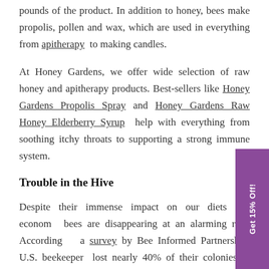Americans in 2019 consumed an estimated 450 million pounds of the product. In addition to honey, bees make propolis, pollen and wax, which are used in everything from apitherapy to making candles.
At Honey Gardens, we offer wide selection of raw honey and apitherapy products. Best-sellers like Honey Gardens Propolis Spray and Honey Gardens Raw Honey Elderberry Syrup help with everything from soothing itchy throats to supporting a strong immune system.
Trouble in the Hive
Despite their immense impact on our diets and economy, bees are disappearing at an alarming rate. According to a survey by Bee Informed Partnership, U.S. beekeepers lost nearly 40% of their colonies in 2019. What's more alarming still is that this loss was only slightly above average.